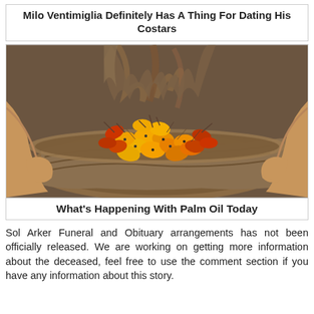Milo Ventimiglia Definitely Has A Thing For Dating His Costars
[Figure (photo): Hands holding a wicker basket filled with palm oil fruits — orange, red, and yellow drupes with dark spiky exteriors]
What's Happening With Palm Oil Today
Sol Arker Funeral and Obituary arrangements has not been officially released. We are working on getting more information about the deceased, feel free to use the comment section if you have any information about this story.